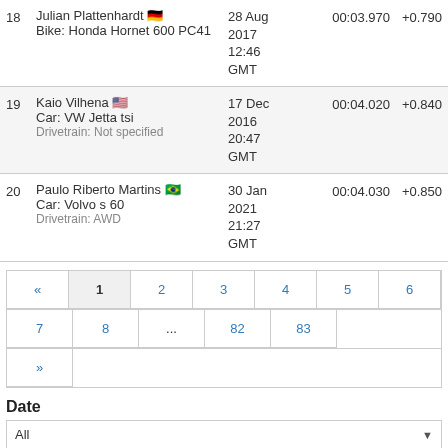| Rank | Driver / Vehicle | Date | Time | Diff |
| --- | --- | --- | --- | --- |
| 18 | Julian Plattenhardt 🇩🇪
Bike: Honda Hornet 600 PC41 | 28 Aug 2017 12:46 GMT | 00:03.970 | +0.790 |
| 19 | Kaio Vilhena 🇺🇸
Car: VW Jetta tsi
Drivetrain: Not specified | 17 Dec 2016 20:47 GMT | 00:04.020 | +0.840 |
| 20 | Paulo Riberto Martins 🇧🇷
Car: Volvo s 60
Drivetrain: AWD | 30 Jan 2021 21:27 GMT | 00:04.030 | +0.850 |
Pagination: « 1 2 3 4 5 6 7 8 ... 82 83 »
Date
All